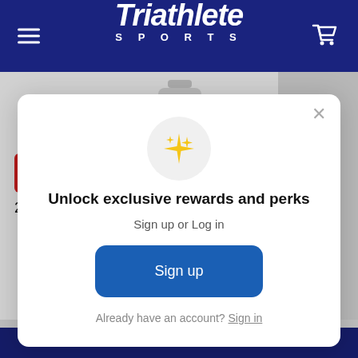Triathlete SPORTS
CHOOSE OPTIONS
2XU 22 oz. Waterbottle -
[Figure (screenshot): Modal popup with sparkle icon, 'Unlock exclusive rewards and perks' heading, 'Sign up or Log in' subtext, 'Sign up' button, and 'Already have an account? Sign in' footer.]
Unlock exclusive rewards and perks
Sign up or Log in
Sign up
Already have an account? Sign in